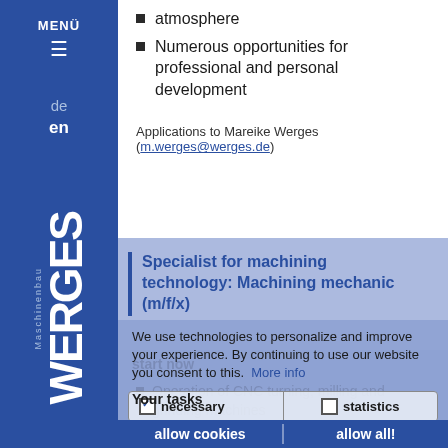MENÜ
atmosphere
Numerous opportunities for professional and personal development
Applications to Mareike Werges (m.werges@werges.de)
Specialist for machining technology: Machining mechanic (m/f/x)
We use technologies to personalize and improve your experience. By continuing to use our website you consent to this. More info
necessary  statistics
Operation of CNC turning, milling and grinding machines
Monitoring of the machining processes
allow cookies    allow all!